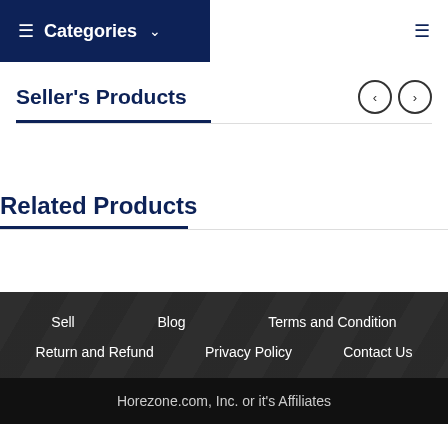Categories
Seller's Products
Related Products
Sell | Blog | Terms and Condition | Return and Refund | Privacy Policy | Contact Us
Horezone.com, Inc. or it's Affiliates